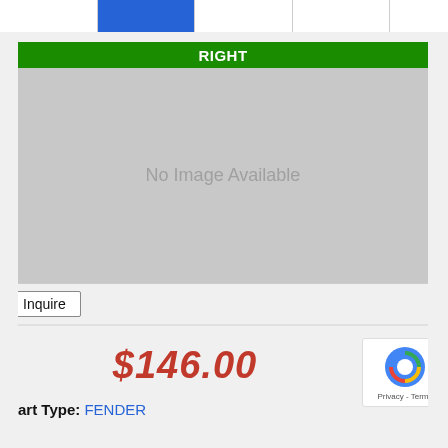[Figure (screenshot): Tab bar at top with multiple column cells, one highlighted in blue]
RIGHT
[Figure (photo): No Image Available placeholder — gray rectangle with centered text]
Inquire
$146.00
Part Type: FENDER